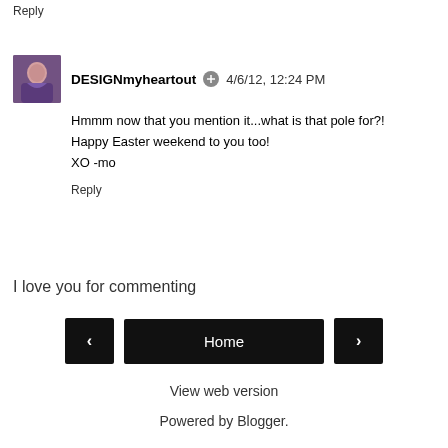Reply
DESIGNmyheartout 4/6/12, 12:24 PM
Hmmm now that you mention it...what is that pole for?!
Happy Easter weekend to you too!
XO -mo
Reply
I love you for commenting
Home
View web version
Powered by Blogger.